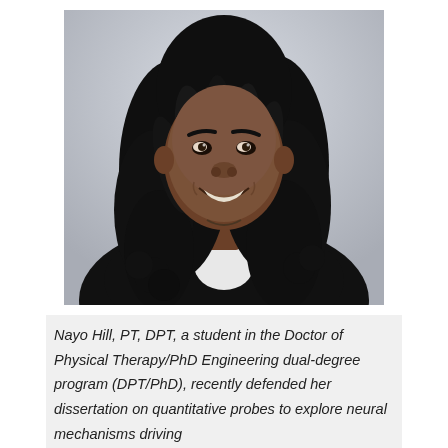[Figure (photo): Professional headshot of Nayo Hill, PT, DPT, a woman with long braided hair, smiling, wearing a black blazer over a white top, against a light gray background.]
Nayo Hill, PT, DPT, a student in the Doctor of Physical Therapy/PhD Engineering dual-degree program (DPT/PhD), recently defended her dissertation on quantitative probes to explore neural mechanisms driving